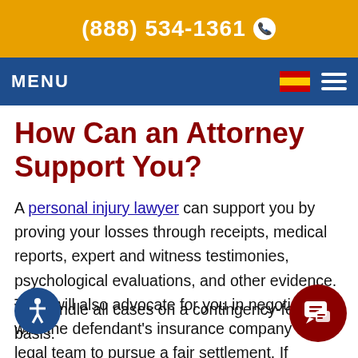(888) 534-1361
MENU
How Can an Attorney Support You?
A personal injury lawyer can support you by proving your losses through receipts, medical reports, expert and witness testimonies, psychological evaluations, and other evidence. They will also advocate for you in negotiations with the defendant's insurance company or legal team to pursue a fair settlement. If necessary, they represent you in a court of law.
We handle all cases on a contingency-fee basis.